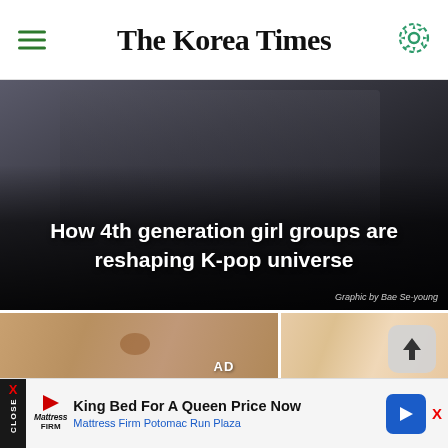The Korea Times
[Figure (photo): Hero image showing K-pop girl group members in dark outfits with overlaid headline text: 'How 4th generation girl groups are reshaping K-pop universe'. Graphic credit: Graphic by Bae Se-young]
How 4th generation girl groups are reshaping K-pop universe
Graphic by Bae Se-young
[Figure (photo): Split before/after advertisement image showing skin with blemishes on the left and clear skin on the right. Labeled 'AD' at the bottom center.]
AD
King Bed For A Queen Price Now
Mattress Firm Potomac Run Plaza